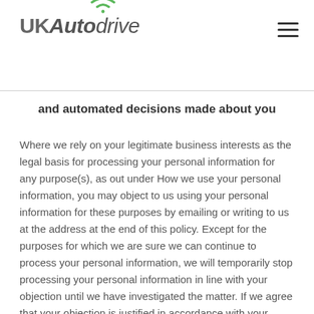UKAutodrive
and automated decisions made about you
Where we rely on your legitimate business interests as the legal basis for processing your personal information for any purpose(s), as out under How we use your personal information, you may object to us using your personal information for these purposes by emailing or writing to us at the address at the end of this policy. Except for the purposes for which we are sure we can continue to process your personal information, we will temporarily stop processing your personal information in line with your objection until we have investigated the matter. If we agree that your objection is justified in accordance with your rights under data protection laws, we will permanently stop using your data for those purposes. Otherwise we will provide you with our justification as to why we need to continue using